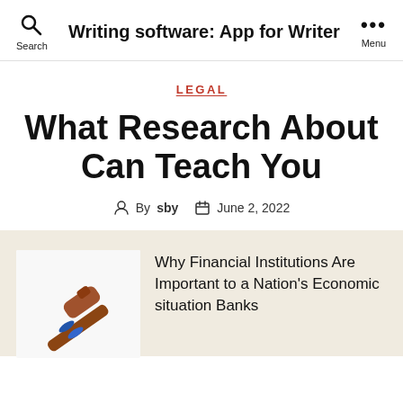Writing software: App for Writer
LEGAL
What Research About Can Teach You
By sby   June 2, 2022
Why Financial Institutions Are Important to a Nation's Economic situation Banks